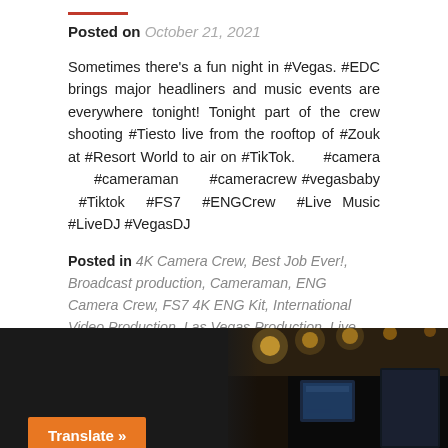Posted on October 21, 2021
Sometimes there's a fun night in #Vegas. #EDC brings major headliners and music events are everywhere tonight! Tonight part of the crew shooting #Tiesto live from the rooftop of #Zouk at #Resort World to air on #TikTok. #camera #cameraman #cameracrew #vegasbaby #Tiktok #FS7 #ENGCrew #Live Music #LiveDJ #VegasDJ
Posted in 4K Camera Crew, Best Job Ever!, Broadcast production, Cameraman, ENG Camera Crew, FS7 4K ENG Kit, International Video Production, Las Vegas Production, Live Entertainment, Music Video    Leave a comment
[Figure (photo): Indoor venue/broadcast truck interior with screens and equipment, dark setting with overhead lights]